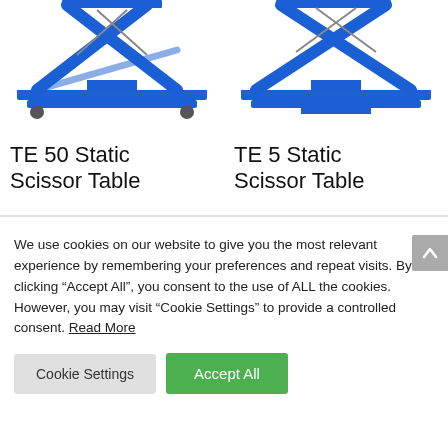[Figure (photo): Blue scissor lift table product photo - TE 50 Static Scissor Table, partially cropped at top]
[Figure (photo): Blue scissor lift table product photo - TE 5 Static Scissor Table, partially cropped at top]
TE 50 Static Scissor Table
TE 5 Static Scissor Table
We use cookies on our website to give you the most relevant experience by remembering your preferences and repeat visits. By clicking “Accept All”, you consent to the use of ALL the cookies. However, you may visit “Cookie Settings” to provide a controlled consent. Read More